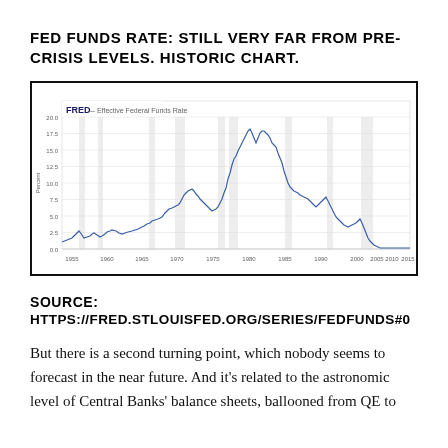FED FUNDS RATE: STILL VERY FAR FROM PRE-CRISIS LEVELS. HISTORIC CHART.
[Figure (continuous-plot): FRED chart showing the Effective Federal Funds Rate from approximately 1955 to 2015. The rate shows a major peak around 1980-1981 reaching near 20%, followed by a general decline, with another smaller peak around 1990, and then falling to near zero after the 2008 financial crisis. Shaded vertical bars indicate US recession periods.]
SOURCE: HTTPS://FRED.STLOUISFED.ORG/SERIES/FEDFUNDS#0
But there is a second turning point, which nobody seems to forecast in the near future. And it's related to the astronomic level of Central Banks' balance sheets, ballooned from QE to QT in the course of the next interest rate cycle with the first...